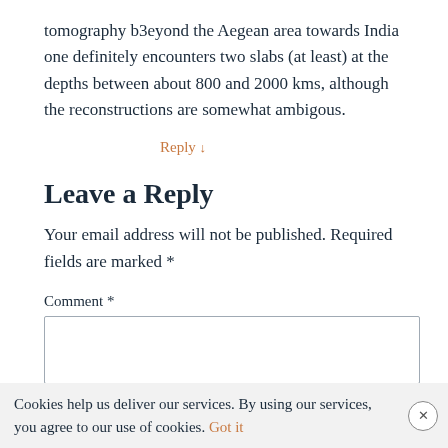tomography b3eyond the Aegean area towards India one definitely encounters two slabs (at least) at the depths between about 800 and 2000 kms, although the reconstructions are somewhat ambigous.
Reply ↓
Leave a Reply
Your email address will not be published. Required fields are marked *
Comment *
Cookies help us deliver our services. By using our services, you agree to our use of cookies. Got it